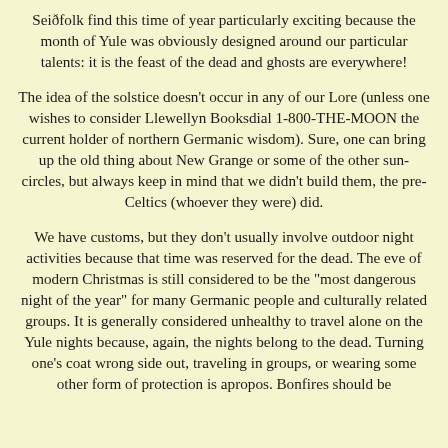Seiðfolk find this time of year particularly exciting because the month of Yule was obviously designed around our particular talents: it is the feast of the dead and ghosts are everywhere!
The idea of the solstice doesn't occur in any of our Lore (unless one wishes to consider Llewellyn Booksdial 1-800-THE-MOON the current holder of northern Germanic wisdom). Sure, one can bring up the old thing about New Grange or some of the other sun-circles, but always keep in mind that we didn't build them, the pre-Celtics (whoever they were) did.
We have customs, but they don't usually involve outdoor night activities because that time was reserved for the dead. The eve of modern Christmas is still considered to be the "most dangerous night of the year" for many Germanic people and culturally related groups. It is generally considered unhealthy to travel alone on the Yule nights because, again, the nights belong to the dead. Turning one's coat wrong side out, traveling in groups, or wearing some other form of protection is apropos. Bonfires should be